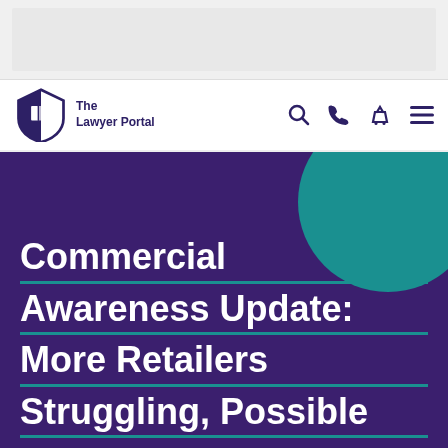[Figure (other): Grey advertisement banner area at the top of the page]
The Lawyer Portal
Commercial Awareness Update: More Retailers Struggling, Possible